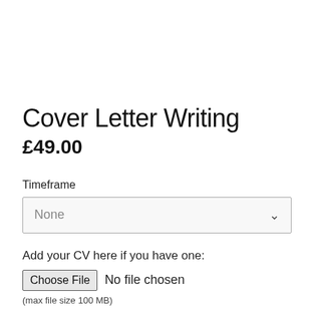Cover Letter Writing
£49.00
Timeframe
None
Add your CV here if you have one:
Choose File  No file chosen
(max file size 100 MB)